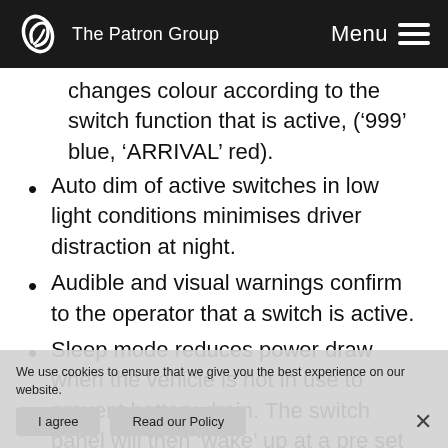The Patron Group  Menu
changes colour according to the switch function that is active, (‘999’ blue, ‘ARRIVAL’ red).
Auto dim of active switches in low light conditions minimises driver distraction at night.
Audible and visual warnings confirm to the operator that a switch is active.
Sleep mode reduces power draw when the vehicle is not in use to prevent battery drain. The switch panel will then ‘wake’ up at a pre set voltage, for example, when the vehicle is started and the battery starts charging or
We use cookies to ensure that we give you the best experience on our website.